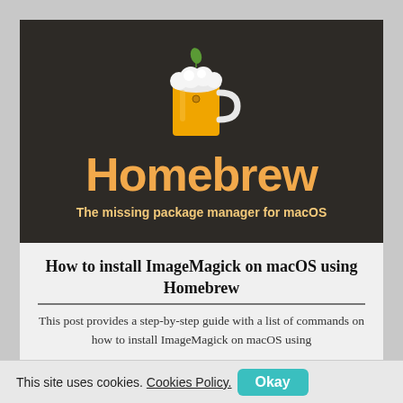[Figure (logo): Homebrew logo: dark brown background with a beer mug with foam and a leaf on top, orange text 'Homebrew' and subtitle 'The missing package manager for macOS']
How to install ImageMagick on macOS using Homebrew
This post provides a step-by-step guide with a list of commands on how to install ImageMagick on macOS using
This site uses cookies. Cookies Policy. Okay